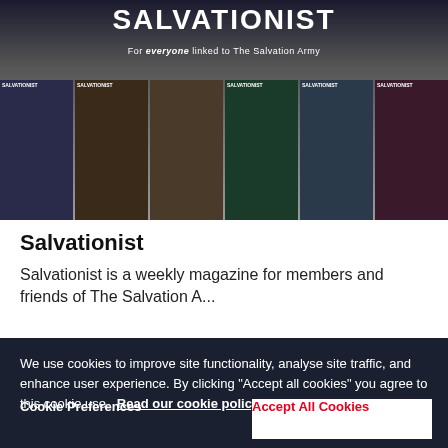[Figure (photo): Salvationist magazine collage showing multiple magazine covers arranged in a grid, with 'SALVATIONIST' title text and subtitle 'For everyone linked to The Salvation Army' overlaid on a dark background]
Salvationist
Salvationist is a weekly magazine for members and friends of The Salvation Army
We use cookies to improve site functionality, analyse site traffic, and enhance user experience. By clicking "Accept all cookies" you agree to this cookie use. Read our cookie policy
Cookie Preferences
Accept All Cookies